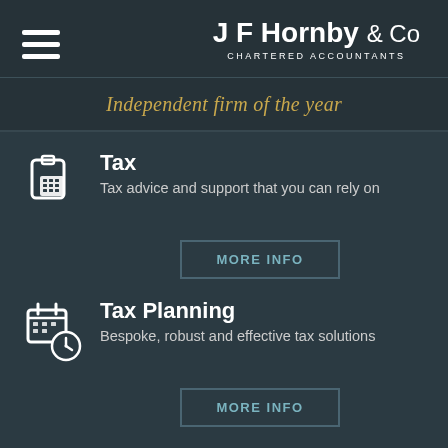JF Hornby & Co Chartered Accountants
Independent firm of the year
Tax
Tax advice and support that you can rely on
MORE INFO
Tax Planning
Bespoke, robust and effective tax solutions
MORE INFO